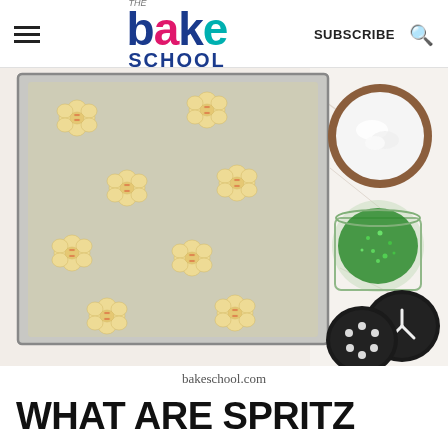THE bake SCHOOL — SUBSCRIBE
[Figure (photo): Overhead view of a baking sheet with raw spritz cookie dough shapes on a silicone mat, alongside a wooden bowl of sugar, a glass jar of green sugar sprinkles, and black cookie press discs on a marble surface.]
bakeschool.com
WHAT ARE SPRITZ